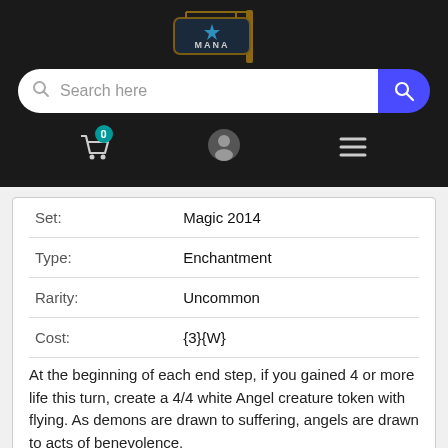[Figure (logo): Mana store logo — a hanging shop sign with stylized text on dark background, with a wooden post]
[Figure (screenshot): Search bar with magnifying glass icon on left and blue search button on right]
[Figure (infographic): Navigation icons: shopping cart with badge showing 0, user/account icon, hamburger menu icon]
|  |  |
| --- | --- |
| Set: | Magic 2014 |
| Type: | Enchantment |
| Rarity: | Uncommon |
| Cost: | {3}{W} |
At the beginning of each end step, if you gained 4 or more life this turn, create a 4/4 white Angel creature token with flying. As demons are drawn to suffering, angels are drawn to acts of benevolence.